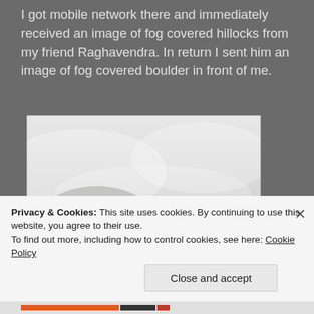I got mobile network there and immediately received an image of fog covered hillocks from my friend Raghavendra. In return I sent him an image of fog covered boulder in front of me.
[Figure (photo): A foggy outdoor scene showing two people standing on a moss-covered boulder or rocky hilltop, surrounded by thick fog. One person appears to be crouching while the other is standing. The background is almost entirely white-grey fog.]
Privacy & Cookies: This site uses cookies. By continuing to use this website, you agree to their use.
To find out more, including how to control cookies, see here: Cookie Policy
Close and accept